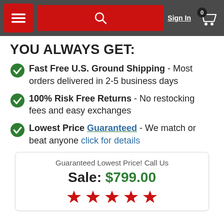Sign In | 0 (cart)
YOU ALWAYS GET:
Fast Free U.S. Ground Shipping - Most orders delivered in 2-5 business days
100% Risk Free Returns - No restocking fees and easy exchanges
Lowest Price Guaranteed - We match or beat anyone click for details
Guaranteed Lowest Price! Call Us
Sale: $799.00
★★★★★